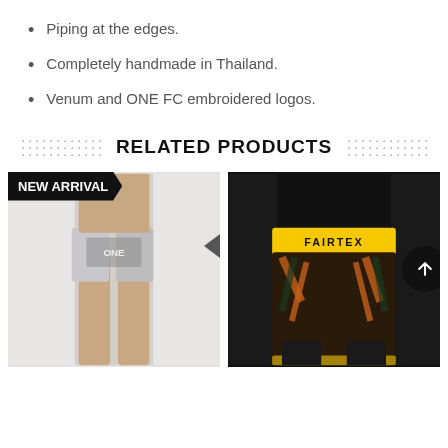Piping at the edges.
Completely handmade in Thailand.
Venum and ONE FC embroidered logos.
RELATED PRODUCTS
[Figure (photo): Person wearing ONE Championship Muay Thai shorts with 'NEW ARRIVAL' badge overlay]
[Figure (photo): Person wearing Fairtex tiger-print Muay Thai shorts with yellow waistband]